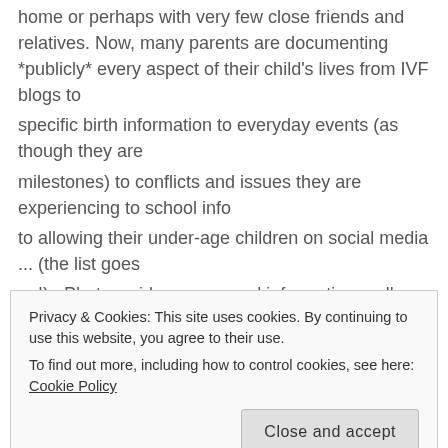home or perhaps with very few close friends and relatives. Now, many parents are documenting *publicly* every aspect of their child's lives from IVF blogs to specific birth information to everyday events (as though they are milestones) to conflicts and issues they are experiencing to school info to allowing their under-age children on social media ... (the list goes on!).  Photos, videos, personal information ~ all
Privacy & Cookies: This site uses cookies. By continuing to use this website, you agree to their use.
To find out more, including how to control cookies, see here: Cookie Policy
as young people and society. Will this generation